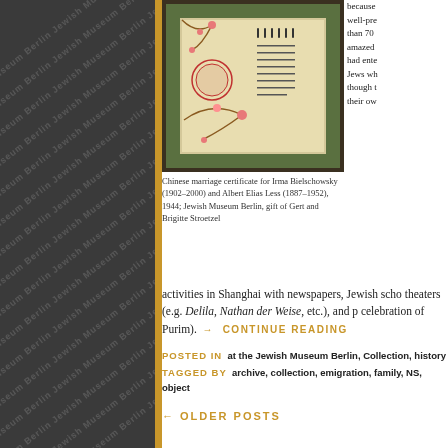[Figure (photo): Chinese marriage certificate framed artwork with Chinese characters and decorative floral border]
Chinese marriage certificate for Irma Bielschowsky (1902–2000) and Albert Elias Less (1887–1952), 1944; Jewish Museum Berlin, gift of Gert and Brigitte Stroetzel
because well-pre than 70 amazed had ente Jews wh though t their ow activities in Shanghai with newspapers, Jewish scho theaters (e.g. Delila, Nathan der Weise, etc.), and p celebration of Purim). → CONTINUE READING
POSTED IN at the Jewish Museum Berlin, Collection, history
TAGGED BY archive, collection, emigration, family, NS, object
← OLDER POSTS